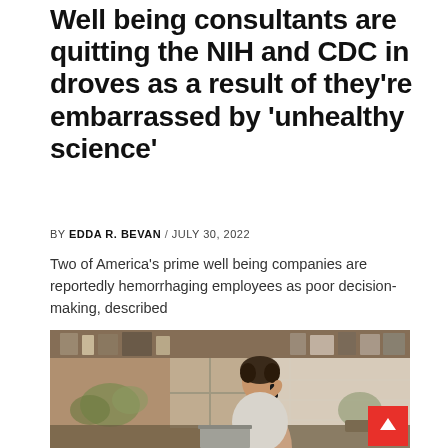Well being consultants are quitting the NIH and CDC in droves as a result of they're embarrassed by 'unhealthy science'
BY EDDA R. BEVAN / JULY 30, 2022
Two of America's prime well being companies are reportedly hemorrhaging employees as poor decision-making, described
[Figure (photo): A woman with curly hair talking on a phone and working on a laptop in a kitchen setting with shelves in the background]